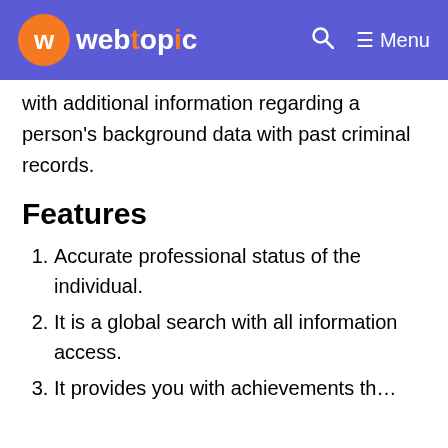webtopic — Menu
with additional information regarding a person's background data with past criminal records.
Features
Accurate professional status of the individual.
It is a global search with all information access.
It provides you with achievements that...